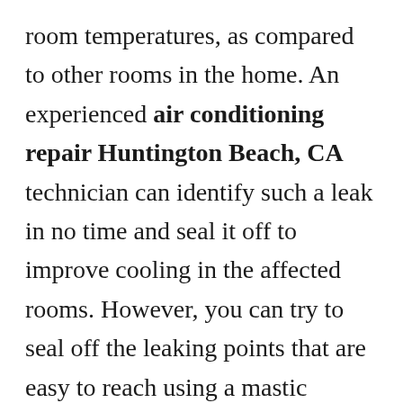room temperatures, as compared to other rooms in the home. An experienced air conditioning repair Huntington Beach, CA technician can identify such a leak in no time and seal it off to improve cooling in the affected rooms. However, you can try to seal off the leaking points that are easy to reach using a mastic sealant or a metallic tape to offer a temporary solution as you wait for a professional to fix your problem. An efficient duct system allows the HVAC system to distribute cool air more effectively, hence